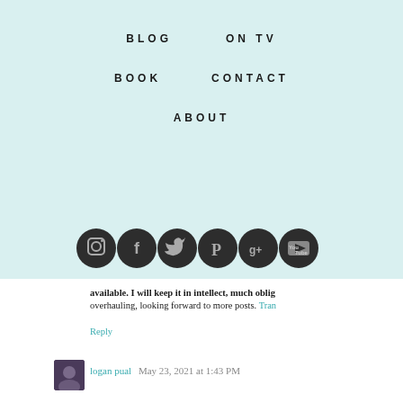BLOG | ON TV | BOOK | CONTACT | ABOUT
[Figure (infographic): Six social media icon circles (Instagram, Facebook, Twitter, Pinterest, Google+, YouTube) in dark gray/black on light teal background]
available. I will keep it in intellect, much obliged for overhauling, looking forward to more posts. Tran
Reply
logan pual  May 23, 2021 at 1:43 PM